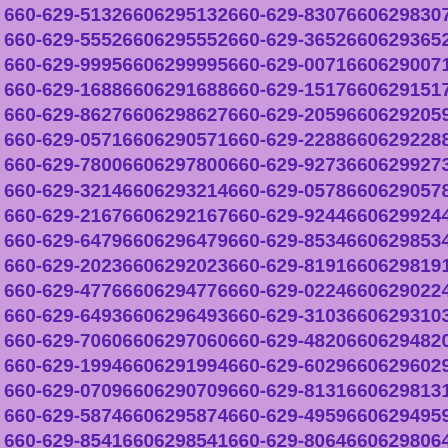660-629-5132 6606295132 660-629-8307 6606298307
660-629-5552 6606295552 660-629-3652 6606293652
660-629-9995 6606299995 660-629-0071 6606290071
660-629-1688 6606291688 660-629-1517 6606291517
660-629-8627 6606298627 660-629-2059 6606292059
660-629-0571 6606290571 660-629-2288 6606292288
660-629-7800 6606297800 660-629-9273 6606299273
660-629-3214 6606293214 660-629-0578 6606290578
660-629-2167 6606292167 660-629-9244 6606299244
660-629-6479 6606296479 660-629-8534 6606298534
660-629-2023 6606292023 660-629-8191 6606298191
660-629-4776 6606294776 660-629-0224 6606290224
660-629-6493 6606296493 660-629-3103 6606293103
660-629-7060 6606297060 660-629-4820 6606294820
660-629-1994 6606291994 660-629-6029 6606296029
660-629-0709 6606290709 660-629-8131 6606298131
660-629-5874 6606295874 660-629-4959 6606294959
660-629-8541 6606298541 660-629-8064 6606298064
660-629-2662 6606292662 660-629-6690 6606296690
660-629-7295 6606297295 660-629-7025 6606297025
660-629-7444 6606297444 660-629-2611 6606292611